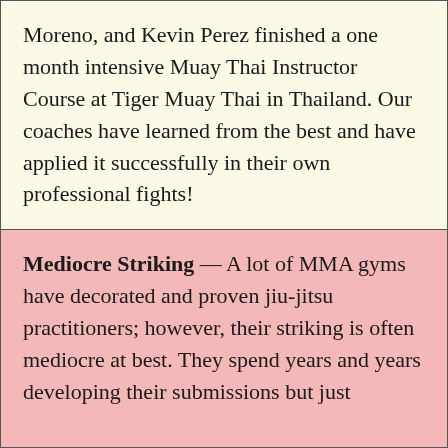Moreno, and Kevin Perez finished a one month intensive Muay Thai Instructor Course at Tiger Muay Thai in Thailand. Our coaches have learned from the best and have applied it successfully in their own professional fights!
Mediocre Striking — A lot of MMA gyms have decorated and proven jiu-jitsu practitioners; however, their striking is often mediocre at best. They spend years and years developing their submissions but just often they tend to losing...